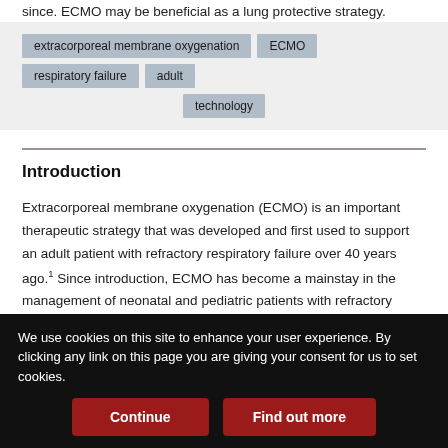since. ECMO may be beneficial as a lung protective strategy.
extracorporeal membrane oxygenation
ECMO
respiratory failure
adult
technology
Introduction
Extracorporeal membrane oxygenation (ECMO) is an important therapeutic strategy that was developed and first used to support an adult patient with refractory respiratory failure over 40 years ago.1 Since introduction, ECMO has become a mainstay in the management of neonatal and pediatric patients with refractory respiratory and/or cardiac failure secondary to a wide range of
We use cookies on this site to enhance your user experience. By clicking any link on this page you are giving your consent for us to set cookies.